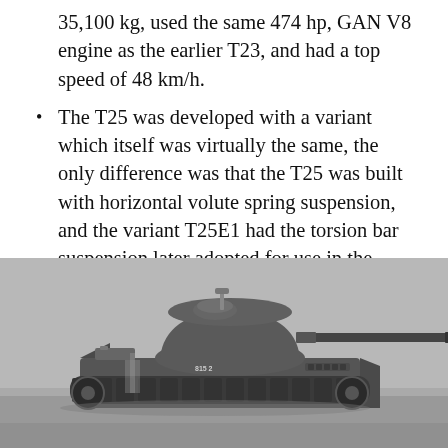35,100 kg, used the same 474 hp, GAN V8 engine as the earlier T23, and had a top speed of 48 km/h.
The T25 was developed with a variant which itself was virtually the same, the only difference was that the T25 was built with horizontal volute spring suspension, and the variant T25E1 had the torsion bar suspension later adopted for use in the M26. Only 40 T25 and T25E1 prototypes were built.
[Figure (photo): Black and white photograph of a tank (T25/M26-type) on an open ground area, showing the turret with a long gun barrel extending to the right, viewed from a slightly elevated front-side angle.]